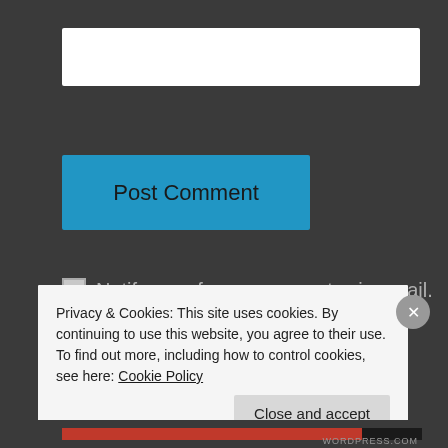[Figure (screenshot): White text input field on dark background]
[Figure (screenshot): Blue 'Post Comment' button]
Notify me of new comments via email.
Notify me of new posts via email.
Follow Blog via Email
Privacy & Cookies: This site uses cookies. By continuing to use this website, you agree to their use.
To find out more, including how to control cookies, see here: Cookie Policy
Close and accept